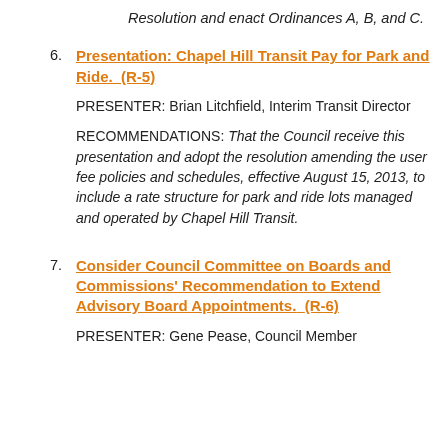Resolution and enact Ordinances A, B, and C.
6. Presentation: Chapel Hill Transit Pay for Park and Ride. (R-5)
PRESENTER: Brian Litchfield, Interim Transit Director
RECOMMENDATIONS: That the Council receive this presentation and adopt the resolution amending the user fee policies and schedules, effective August 15, 2013, to include a rate structure for park and ride lots managed and operated by Chapel Hill Transit.
7. Consider Council Committee on Boards and Commissions' Recommendation to Extend Advisory Board Appointments. (R-6)
PRESENTER: Gene Pease, Council Member